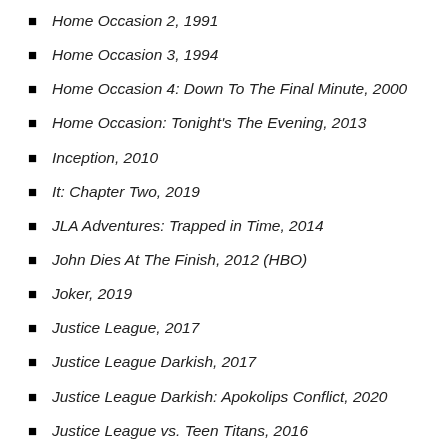Home Occasion 2, 1991
Home Occasion 3, 1994
Home Occasion 4: Down To The Final Minute, 2000
Home Occasion: Tonight's The Evening, 2013
Inception, 2010
It: Chapter Two, 2019
JLA Adventures: Trapped in Time, 2014
John Dies At The Finish, 2012 (HBO)
Joker, 2019
Justice League, 2017
Justice League Darkish, 2017
Justice League Darkish: Apokolips Conflict, 2020
Justice League vs. Teen Titans, 2016